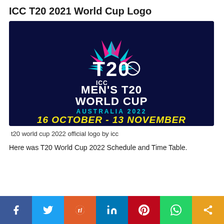ICC T20 2021 World Cup Logo
[Figure (logo): ICC Men's T20 World Cup Australia 2022 official logo on dark navy background with colorful geometric star/flower pattern and yellow text '16 OCTOBER - 13 NOVEMBER']
t20 world cup 2022 official logo by icc
Here was T20 World Cup 2022 Schedule and Time Table.